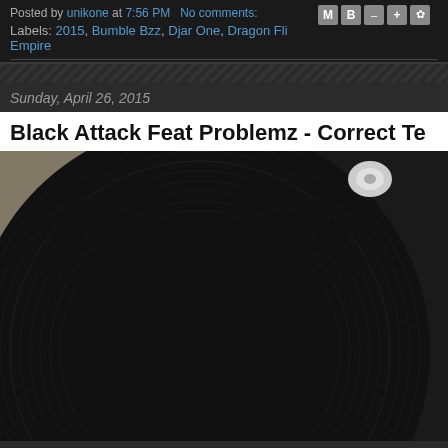Posted by unikone at 7:56 PM   No comments:
Labels: 2015, Bumble Bzz, Djar One, Dragon Fli Empire
Sunday, April 26, 2015
Black Attack Feat Problemz - Correct Te
[Figure (photo): Close-up photo of a vinyl record on a turntable. The record label reads 'Ghetto Gold Recordings', 'RWK 147', 'BLACK ATTACK F/PRO', '(PRODUCED BY THE GHETTO PROFE)', '1. CORRECT TECHNIQUE (CLE)', '2. CORRECT TECHNIQUE (DIR)', '3. CORRECT TECHNIQUE (INS)']